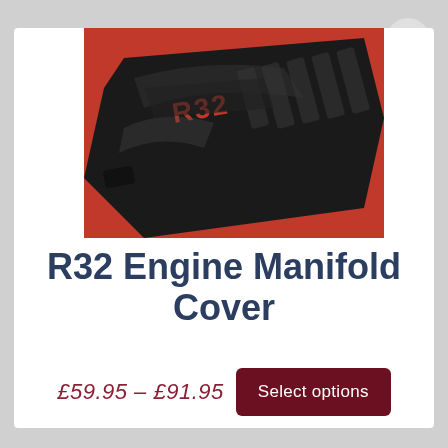[Figure (photo): Close-up photo of a black R32 engine manifold cover with red background, showing the R32 badge in red lettering on the black plastic cover with ridged surfaces]
R32 Engine Manifold Cover
£59.95 – £91.95
Select options